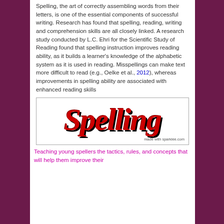Spelling, the art of correctly assembling words from their letters, is one of the essential components of successful writing. Research has found that spelling, reading, writing and comprehension skills are all closely linked. A research study conducted by L.C. Ehri for the Scientific Study of Reading found that spelling instruction improves reading ability, as it builds a learner's knowledge of the alphabetic system as it is used in reading. Misspellings can make text more difficult to read (e.g., Oelke et al., 2012), whereas improvements in spelling ability are associated with enhanced reading skills
[Figure (illustration): Large glittery red sparkly text reading 'Spelling' in bold italic cursive font with black shadow on white background. Bottom right corner reads 'made with sparklee.com'.]
Teaching young spellers the tactics, rules, and concepts that will help them improve their